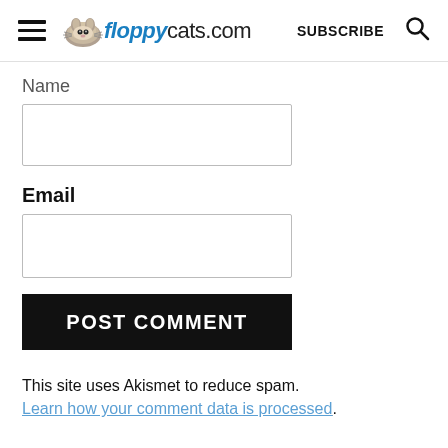floppycats.com  SUBSCRIBE
Name
Email
POST COMMENT
This site uses Akismet to reduce spam. Learn how your comment data is processed.